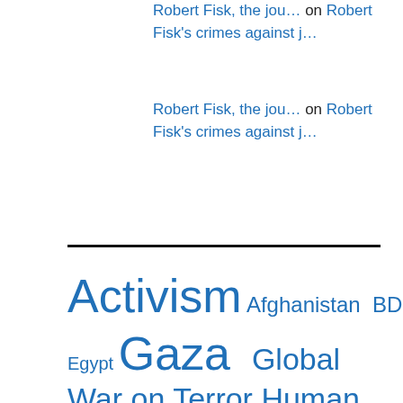Robert Fisk, the jou… on Robert Fisk's crimes against j…
Robert Fisk, the jou… on Robert Fisk's crimes against j…
Activism  Afghanistan  BDS  Books  Culture  Egypt  Gaza  Global War on Terror  Human Rights  Iran  Iraq  Israel  Israel Lobby  Media  Middle East  Occupation  Pakistan  Palestine